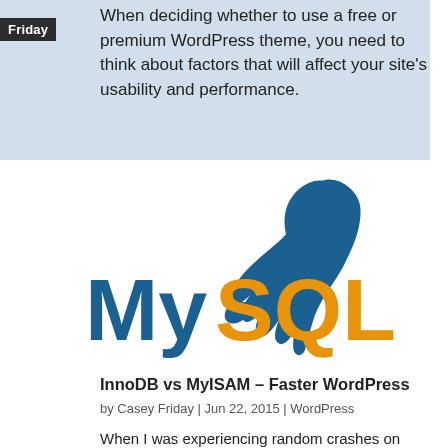When deciding whether to use a free or premium WordPress theme, you need to think about factors that will affect your site's usability and performance.
[Figure (logo): MySQL logo with dolphin graphic — teal/dark-blue dolphin above the word 'MySQL' in teal and orange lettering]
InnoDB vs MyISAM – Faster WordPress
by Casey Friday | Jun 22, 2015 | WordPress
When I was experiencing random crashes on